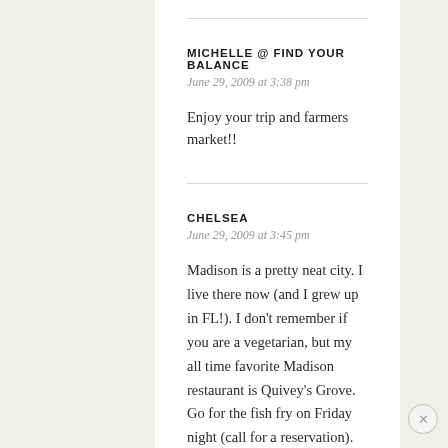MICHELLE @ FIND YOUR BALANCE
June 29, 2009 at 3:38 pm
Enjoy your trip and farmers market!!
CHELSEA
June 29, 2009 at 3:45 pm
Madison is a pretty neat city. I live there now (and I grew up in FL!). I don't remember if you are a vegetarian, but my all time favorite Madison restaurant is Quivey's Grove. Go for the fish fry on Friday night (call for a reservation). You won't be disappointed. But every suggestion I've seen in the comments is great. If you run through campus early in the morning, I might even pass you.